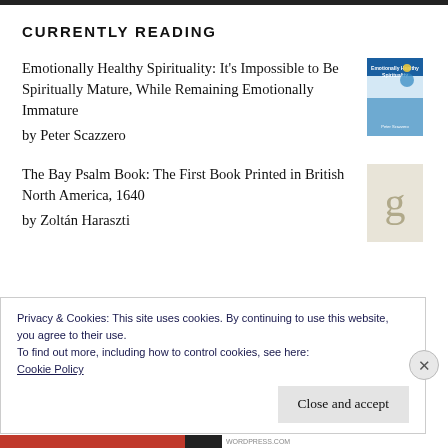CURRENTLY READING
Emotionally Healthy Spirituality: It's Impossible to Be Spiritually Mature, While Remaining Emotionally Immature
by Peter Scazzero
[Figure (photo): Book cover of Emotionally Healthy Spirituality by Peter Scazzero]
The Bay Psalm Book: The First Book Printed in British North America, 1640
bv Zoltán Haraszti
[Figure (photo): Goodreads placeholder book cover with letter g]
Privacy & Cookies: This site uses cookies. By continuing to use this website, you agree to their use.
To find out more, including how to control cookies, see here:
Cookie Policy
Close and accept